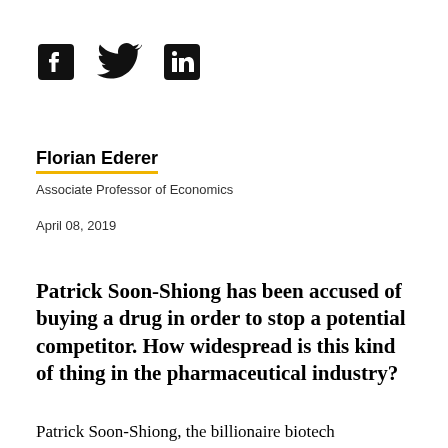[Figure (illustration): Social media icons: Facebook, Twitter, LinkedIn]
Florian Ederer
Associate Professor of Economics
April 08, 2019
Patrick Soon-Shiong has been accused of buying a drug in order to stop a potential competitor. How widespread is this kind of thing in the pharmaceutical industry?
Patrick Soon-Shiong, the billionaire biotech